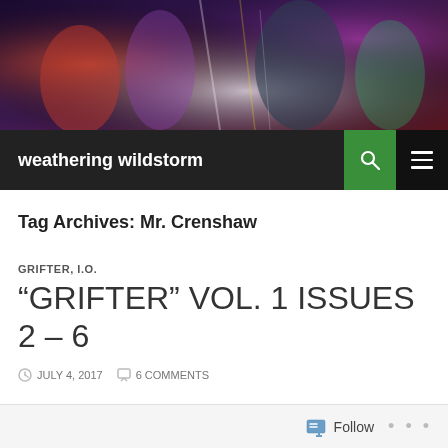[Figure (illustration): Comic book style header banner showing multiple superhero characters in action poses with colorful energy effects]
weathering wildstorm
Tag Archives: Mr. Crenshaw
GRIFTER, I.O.
“GRIFTER” VOL. 1 ISSUES 2 – 6
JULY 4, 2017   6 COMMENTS